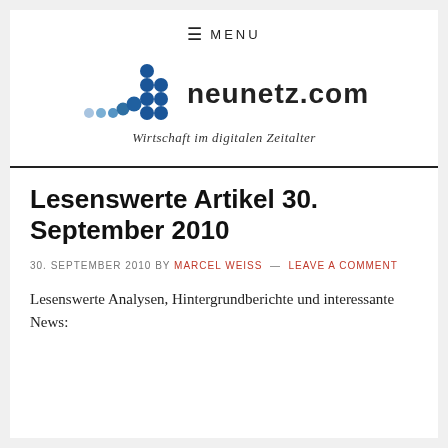≡ MENU
[Figure (logo): neunetz.com logo with blue dot/bubble graphic and tagline 'Wirtschaft im digitalen Zeitalter']
Lesenswerte Artikel 30. September 2010
30. SEPTEMBER 2010 BY MARCEL WEISS — LEAVE A COMMENT
Lesenswerte Analysen, Hintergrundberichte und interessante News: